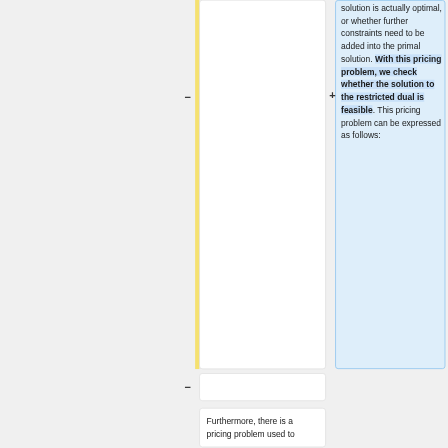solution is actually optimal, or whether further constraints need to be added into the primal solution. With this pricing problem, we check whether the solution to the restricted dual is feasible. This pricing problem can be expressed as follows:
Furthermore, there is a pricing problem used to